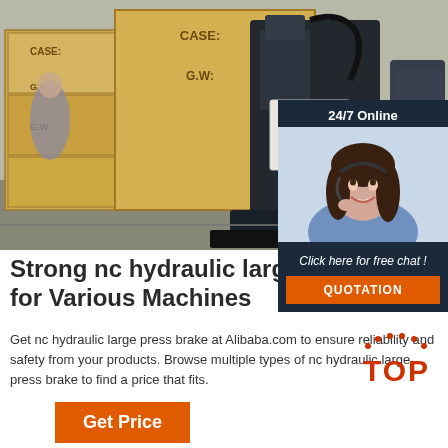[Figure (photo): Industrial nc hydraulic large press brake machine in a warehouse/factory setting, surrounded by wooden crates labeled CASE and G.W.]
[Figure (photo): 24/7 Online chat widget showing a smiling woman with a headset, with 'Click here for free chat!' text and orange QUOTATION button]
Strong nc hydraulic large press brake for Various Machines
Get nc hydraulic large press brake at Alibaba.com to ensure reliability and safety from your products. Browse multiple types of nc hydraulic large press brake to find a price that fits.
[Figure (logo): TOP badge with orange/red dots and bold red TOP text]
Get Price